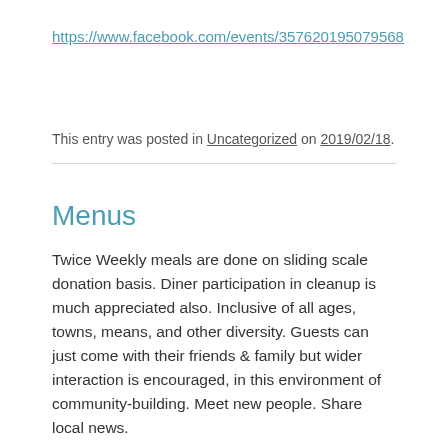https://www.facebook.com/events/357620195079568
This entry was posted in Uncategorized on 2019/02/18.
Menus
Twice Weekly meals are done on sliding scale donation basis. Diner participation in cleanup is much appreciated also. Inclusive of all ages, towns, means, and other diversity. Guests can just come with their friends & family but wider interaction is encouraged, in this environment of community-building. Meet new people. Share local news.